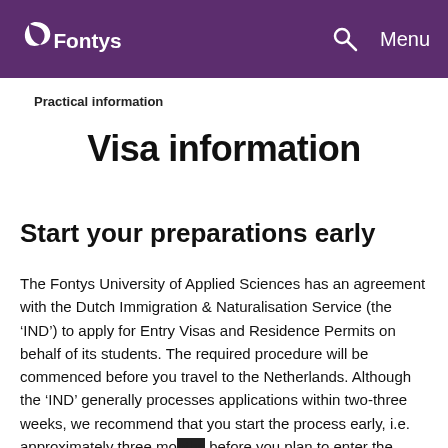Fontys — Search — Menu
Practical information
Visa information
Start your preparations early
The Fontys University of Applied Sciences has an agreement with the Dutch Immigration & Naturalisation Service (the 'IND') to apply for Entry Visas and Residence Permits on behalf of its students. The required procedure will be commenced before you travel to the Netherlands. Although the 'IND' generally processes applications within two-three weeks, we recommend that you start the process early, i.e. approximately three months before you plan to enter the Netherlands, as it may take some time for you to gather all of the required documentation. You will